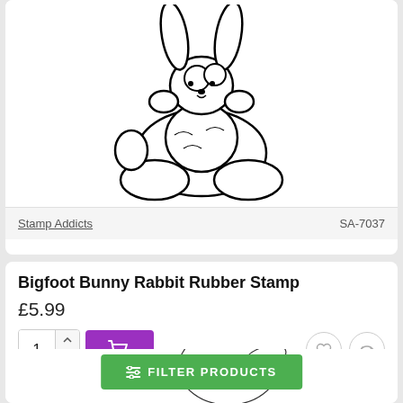[Figure (illustration): Line drawing of a cartoon bigfoot bunny rabbit rubber stamp — a plump bunny with large feet, shown from above/front, black outline on white background]
Stamp Addicts    SA-7037
Bigfoot Bunny Rabbit Rubber Stamp
£5.99
[Figure (illustration): Detailed black and white illustration of a realistic rabbit head/upper body, looking left, with detailed fur texture and a dark eye — partially visible at bottom of page]
FILTER PRODUCTS